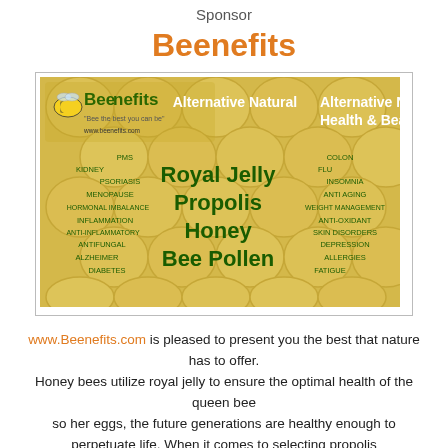Sponsor
Beenefits
[Figure (illustration): Beenefits brand image with honeycomb background showing bee products: Royal Jelly, Propolis, Honey, Bee Pollen, and various health conditions treated. Logo with bee and text Alternative Natural Health & Beauty.]
www.Beenefits.com is pleased to present you the best that nature has to offer.
Honey bees utilize royal jelly to ensure the optimal health of the queen bee
so her eggs, the future generations are healthy enough to perpetuate life. When it comes to selecting propolis